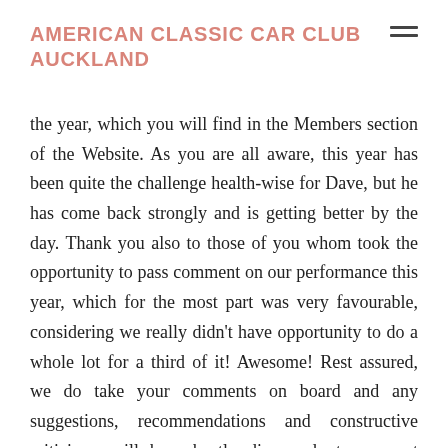AMERICAN CLASSIC CAR CLUB AUCKLAND
the year, which you will find in the Members section of the Website. As you are all aware, this year has been quite the challenge health-wise for Dave, but he has come back strongly and is getting better by the day. Thank you also to those of you whom took the opportunity to pass comment on our performance this year, which for the most part was very favourable, considering we really didn’t have opportunity to do a whole lot for a third of it! Awesome! Rest assured, we do take your comments on board and any suggestions, recommendations and constructive criticisms will be robustly discussed at our next scheduled committee meeting.